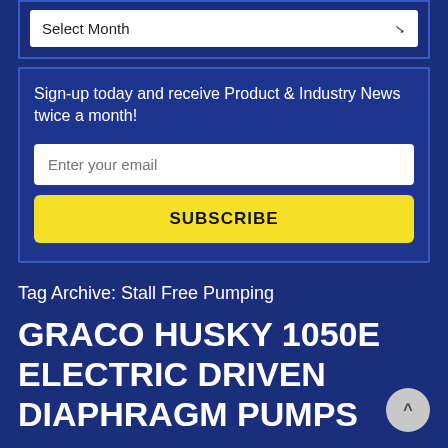Select Month
Sign-up today and receive Product & Industry News twice a month!
Enter your email
SUBSCRIBE
Tag Archive: Stall Free Pumping
GRACO HUSKY 1050E ELECTRIC DRIVEN DIAPHRAGM PUMPS